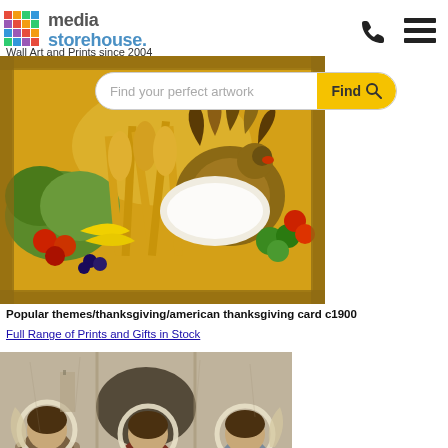media storehouse. Wall Art and Prints since 2004
[Figure (screenshot): Search bar with text 'Find your perfect artwork' and yellow Find button with magnifying glass icon]
[Figure (photo): American Thanksgiving card c1900 showing a turkey surrounded by fruits, vegetables, and harvest produce with golden decorative border]
Popular themes/thanksgiving/american thanksgiving card c1900
Full Range of Prints and Gifts in Stock
[Figure (photo): Religious icon painting showing three angels with halos, depicted in medieval Byzantine style, representing the Trinity]